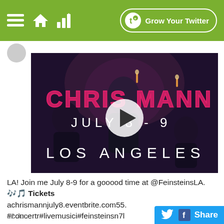Grow Your Twitter
[Figure (screenshot): Video thumbnail showing Chris Mann performing live on stage with text overlay: CHRIS MANN JULY 8-9 LOS ANGELES, with a play button in the center]
LA! Join me July 8-9 for a gooood time at @FeinsteinsLA. 🎶🎵 Tickets achrismannjuly8.eventbrite.com55. #concertr#livemusici#feinsteinsn7l
22 Jun